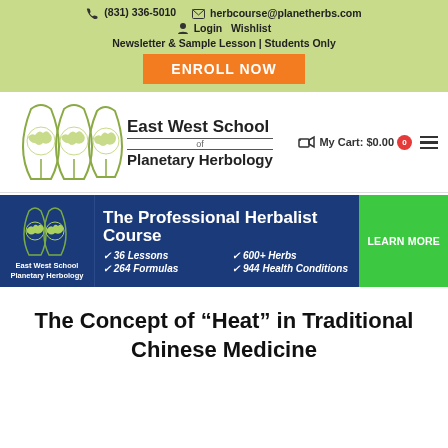(831) 336-5010  herbcourse@planetherbs.com  Login  Wishlist  Newsletter & Sample Lesson | Students Only  ENROLL NOW
[Figure (logo): East West School of Planetary Herbology logo with three leaf-globe icons]
My Cart: $0.00  0
[Figure (infographic): The Professional Herbalist Course banner: 36 Lessons, 264 Formulas, 600+ Herbs, 944 Health Conditions. LEARN MORE button.]
The Concept of “Heat” in Traditional Chinese Medicine